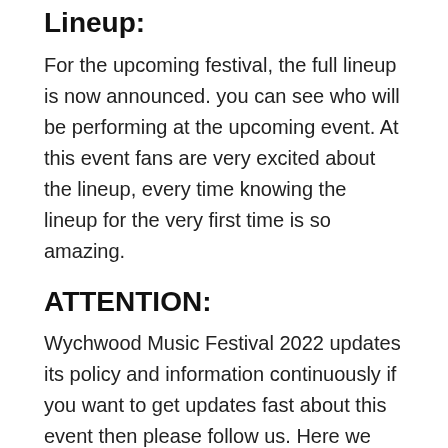Lineup:
For the upcoming festival, the full lineup is now announced. you can see who will be performing at the upcoming event. At this event fans are very excited about the lineup, every time knowing the lineup for the very first time is so amazing.
ATTENTION:
Wychwood Music Festival 2022 updates its policy and information continuously if you want to get updates fast about this event then please follow us. Here we describe how you can easily stream this event. We hope this full information will help you a lot